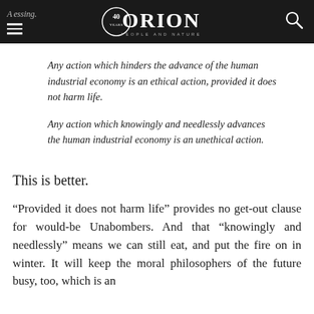Orion — People and Nature (40 years)
Any action which hinders the advance of the human industrial economy is an ethical action, provided it does not harm life.
Any action which knowingly and needlessly advances the human industrial economy is an unethical action.
This is better.
“Provided it does not harm life” provides no get-out clause for would-be Unabombers. And that “knowingly and needlessly” means we can still eat, and put the fire on in winter. It will keep the moral philosophers of the future busy, too, which is an